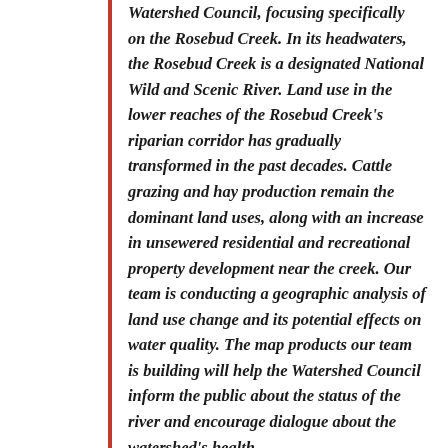Watershed Council, focusing specifically on the Rosebud Creek. In its headwaters, the Rosebud Creek is a designated National Wild and Scenic River. Land use in the lower reaches of the Rosebud Creek's riparian corridor has gradually transformed in the past decades. Cattle grazing and hay production remain the dominant land uses, along with an increase in unsewered residential and recreational property development near the creek. Our team is conducting a geographic analysis of land use change and its potential effects on water quality. The map products our team is building will help the Watershed Council inform the public about the status of the river and encourage dialogue about the watershed's health.